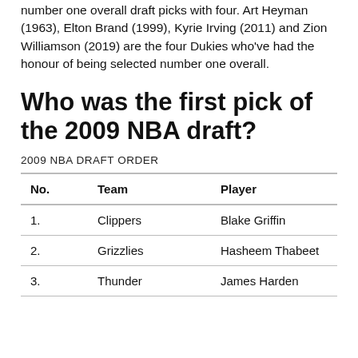number one overall draft picks with four. Art Heyman (1963), Elton Brand (1999), Kyrie Irving (2011) and Zion Williamson (2019) are the four Dukies who've had the honour of being selected number one overall.
Who was the first pick of the 2009 NBA draft?
2009 NBA DRAFT ORDER
| No. | Team | Player |
| --- | --- | --- |
| 1. | Clippers | Blake Griffin |
| 2. | Grizzlies | Hasheem Thabeet |
| 3. | Thunder | James Harden |